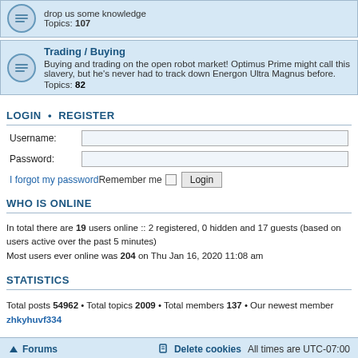drop us some knowledge
Topics: 107
Trading / Buying
Buying and trading on the open robot market! Optimus Prime might call this slavery, but he's never had to track down Energon Ultra Magnus before.
Topics: 82
LOGIN • REGISTER
Username:
Password:
I forgot my password
Remember me  Login
WHO IS ONLINE
In total there are 19 users online :: 2 registered, 0 hidden and 17 guests (based on users active over the past 5 minutes)
Most users ever online was 204 on Thu Jan 16, 2020 11:08 am
STATISTICS
Total posts 54962 • Total topics 2009 • Total members 137 • Our newest member zhkyhuvf334
Forums  Delete cookies  All times are UTC-07:00
Powered by phpBB® Forum Software © phpBB Limited
Privacy | Terms